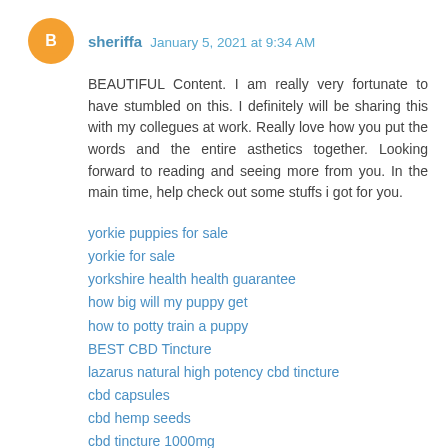sheriffa  January 5, 2021 at 9:34 AM
BEAUTIFUL Content. I am really very fortunate to have stumbled on this. I definitely will be sharing this with my collegues at work. Really love how you put the words and the entire asthetics together. Looking forward to reading and seeing more from you. In the main time, help check out some stuffs i got for you.
yorkie puppies for sale
yorkie for sale
yorkshire health health guarantee
how big will my puppy get
how to potty train a puppy
BEST CBD Tincture
lazarus natural high potency cbd tincture
cbd capsules
cbd hemp seeds
cbd tincture 1000mg
cbd topical oil
full spectrum cbd oil